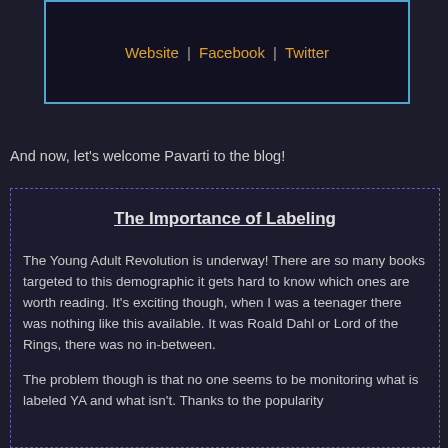Website | Facebook | Twitter
And now, let's welcome Pavarti to the blog!
The Importance of Labeling
The Young Adult Revolution is underway! There are so many books targeted to this demographic it gets hard to know which ones are worth reading. It's exciting though, when I was a teenager there was nothing like this available. It was Roald Dahl or Lord of the Rings, there was no in-between.
The problem though is that no one seems to be monitoring what is labeled YA and what isn't. Thanks to the popularity